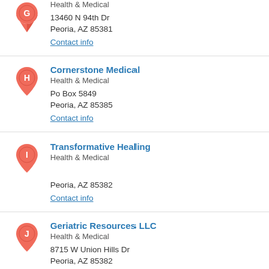Health & Medical
13460 N 94th Dr
Peoria, AZ 85381
Contact info
Cornerstone Medical
Health & Medical
Po Box 5849
Peoria, AZ 85385
Contact info
Transformative Healing
Health & Medical
Peoria, AZ 85382
Contact info
Geriatric Resources LLC
Health & Medical
8715 W Union Hills Dr
Peoria, AZ 85382
Contact info